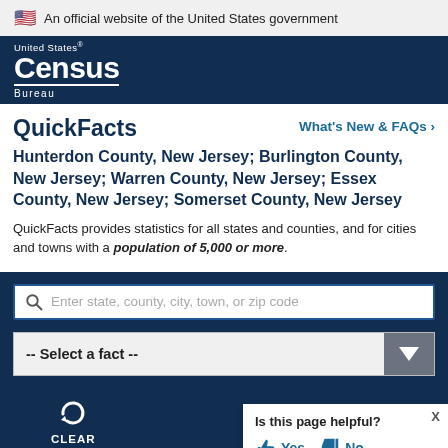An official website of the United States government
[Figure (logo): United States Census Bureau logo in white on dark blue background]
QuickFacts
What's New & FAQs >
Hunterdon County, New Jersey; Burlington County, New Jersey; Warren County, New Jersey; Essex County, New Jersey; Somerset County, New Jersey
QuickFacts provides statistics for all states and counties, and for cities and towns with a population of 5,000 or more.
Enter state, county, city, town, or zip code
-- Select a fact --
CLEAR
Is this page helpful? Yes No